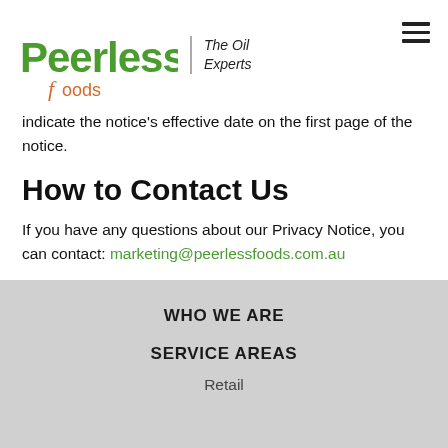Peerless Foods | The Oil Experts
indicate the notice's effective date on the first page of the notice.
How to Contact Us
If you have any questions about our Privacy Notice, you can contact: marketing@peerlessfoods.com.au
WHO WE ARE
SERVICE AREAS
Retail